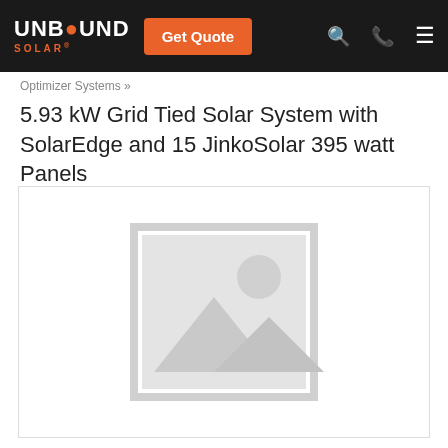UNBOUND SOLAR® | Get Quote
Optimizer Systems »
5.93 kW Grid Tied Solar System with SolarEdge and 15 JinkoSolar 395 watt Panels
[Figure (photo): Product image placeholder — grey image icon with mountain and sun silhouette on white background with border]